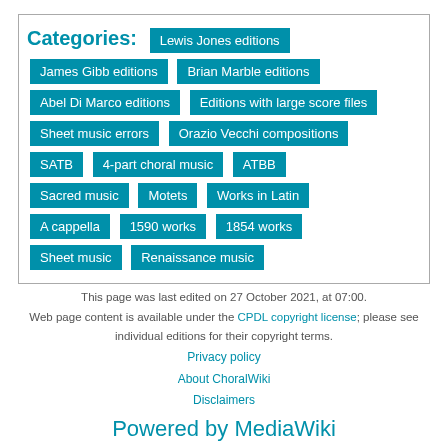Categories: Lewis Jones editions James Gibb editions Brian Marble editions Abel Di Marco editions Editions with large score files Sheet music errors Orazio Vecchi compositions SATB 4-part choral music ATBB Sacred music Motets Works in Latin A cappella 1590 works 1854 works Sheet music Renaissance music
This page was last edited on 27 October 2021, at 07:00.
Web page content is available under the CPDL copyright license; please see individual editions for their copyright terms.
Privacy policy
About ChoralWiki
Disclaimers
Powered by MediaWiki